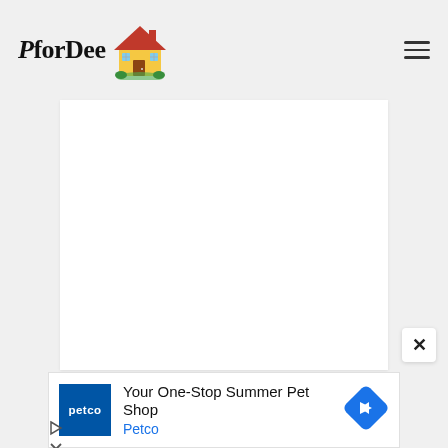PforDee [logo with house illustration] [hamburger menu icon]
[Figure (other): Large white rectangular content area below the header, serving as the main page body placeholder]
[Figure (other): Close button (×) in white rounded box at bottom right of main content area]
[Figure (other): Petco advertisement banner: Petco logo (blue box), headline 'Your One-Stop Summer Pet Shop', brand name 'Petco' in blue, blue diamond arrow icon on right. Below: play icon row and close icon row.]